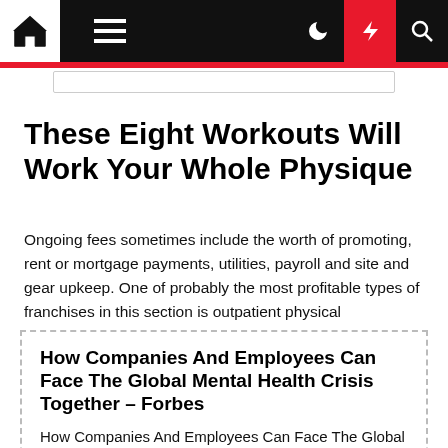Navigation bar with home, menu, dark mode, lightning/featured, and search icons
These Eight Workouts Will Work Your Whole Physique
Ongoing fees sometimes include the worth of promoting, rent or mortgage payments, utilities, payroll and site and gear upkeep. One of probably the most profitable types of franchises in this section is outpatient physical rehabilitation services.
How Companies And Employees Can Face The Global Mental Health Crisis Together – Forbes
How Companies And Employees Can Face The Global Mental Health Crisis Together.